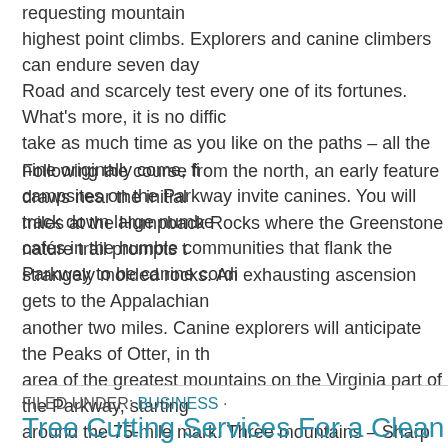requesting mountain highest point climbs. Explorers and canine climbers can endure seven day Road and scarcely test every one of its fortunes. What's more, it is no diffic take as much time as you like on the paths – all the nine originally come, fi campsites on the Parkway invite canines. You will track down large numbe cafés in the humble communities that flank the Parkway to be canine cordi
Following the course from the north, an early feature draws near the initial miles at the Humpback Rocks where the Greenstone nature trail prompts t strangely molded rocks. An exhausting ascension gets to the Appalachian another two miles. Canine explorers will anticipate the Peaks of Otter, in th area of the greatest mountains on the Virginia part of the Parkway, starting around the 75-mile mark. Three mountains – Sharp Top (3,875 feet), Flat T (4,004 feet), and Harkening Hill (3,364 feet) include the Peaks of Otter, a fa climbing objective since Colonial days when Thomas Jefferson was an exc guest. The 4.4-mile trail to the Flat Top highest point is evaluated more tha confused rocks give athletic canines a tail-swaying exercise.
FILED UNDER: BUSINESS ·
Tree Cutting Services For a Clean and Neat Law